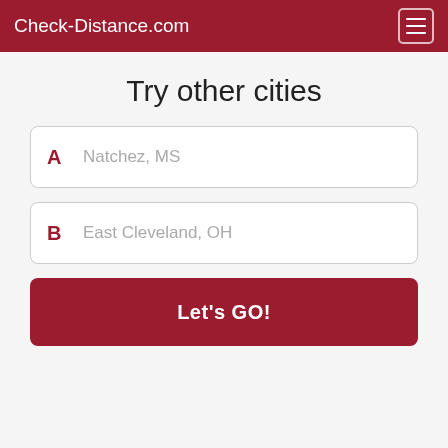Check-Distance.com
Try other cities
A  Natchez, MS
B  East Cleveland, OH
Let's GO!